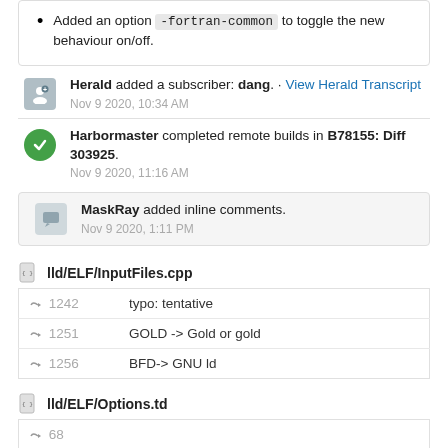Added an option -fortran-common to toggle the new behaviour on/off.
Herald added a subscriber: dang. · View Herald Transcript
Nov 9 2020, 10:34 AM
Harbormaster completed remote builds in B78155: Diff 303925.
Nov 9 2020, 11:16 AM
MaskRay added inline comments.
Nov 9 2020, 1:11 PM
lld/ELF/InputFiles.cpp
| Line | Comment |
| --- | --- |
| 1242 | typo: tentative |
| 1251 | GOLD -> Gold or gold |
| 1256 | BFD-> GNU ld |
lld/ELF/Options.td
| Line | Comment |
| --- | --- |
| 68 |  |